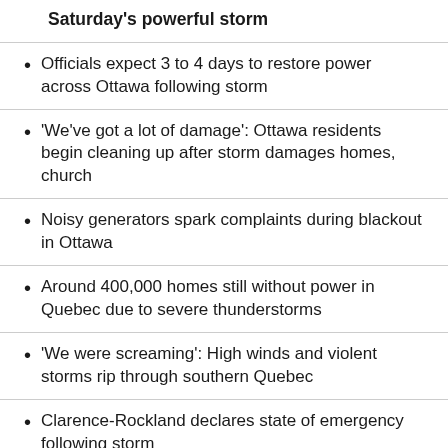Saturday's powerful storm
Officials expect 3 to 4 days to restore power across Ottawa following storm
'We've got a lot of damage': Ottawa residents begin cleaning up after storm damages homes, church
Noisy generators spark complaints during blackout in Ottawa
Around 400,000 homes still without power in Quebec due to severe thunderstorms
'We were screaming': High winds and violent storms rip through southern Quebec
Clarence-Rockland declares state of emergency following storm